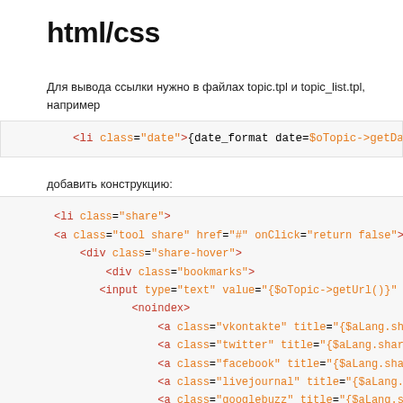html/css
Для вывода ссылки нужно в файлах topic.tpl и topic_list.tpl, например
[Figure (screenshot): Code snippet: <li class="date">{date_format date=$oTopic->getDateAdd()]
добавить конструкцию:
[Figure (screenshot): Code block with HTML markup for share widget including li, a, div, input, noindex, and anchor tags with classes share, tool share, share-hover, bookmarks, vkontakte, twitter, facebook, livejournal, googlebuzz, with closing tags /noindex, /div, /div]